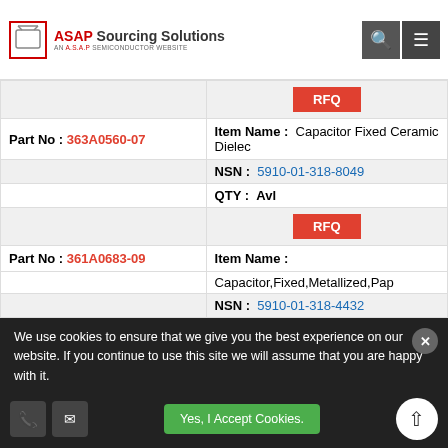ASAP Sourcing Solutions - AN A.S.A.P SEMICONDUCTOR WEBSITE
| Part No: | 363A0560-07 | Item Name: | Capacitor Fixed Ceramic Dielec |
| NSN: | 5910-01-318-8049 |  |  |
| QTY: | Avl |  |  |
| RFQ |  |  |  |
| Part No: | 361A0683-09 | Item Name: | Capacitor,Fixed,Metallized,Pap |
| NSN: | 5910-01-318-4432 |  |  |
| QTY: | Avl |  |  |
| RFQ |  |  |  |
| Part No: | 109A0006 | Item Name: | Gasket: |
| NSN: | 5330-01-318-675B |  |  |
| QTY: | Avl |  |  |
We use cookies to ensure that we give you the best experience on our website. If you continue to use this site we will assume that you are happy with it.